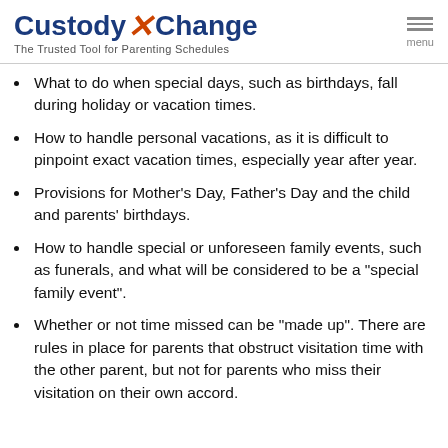CustodyXChange – The Trusted Tool for Parenting Schedules
What to do when special days, such as birthdays, fall during holiday or vacation times.
How to handle personal vacations, as it is difficult to pinpoint exact vacation times, especially year after year.
Provisions for Mother's Day, Father's Day and the child and parents' birthdays.
How to handle special or unforeseen family events, such as funerals, and what will be considered to be a "special family event".
Whether or not time missed can be "made up". There are rules in place for parents that obstruct visitation time with the other parent, but not for parents who miss their visitation on their own accord.